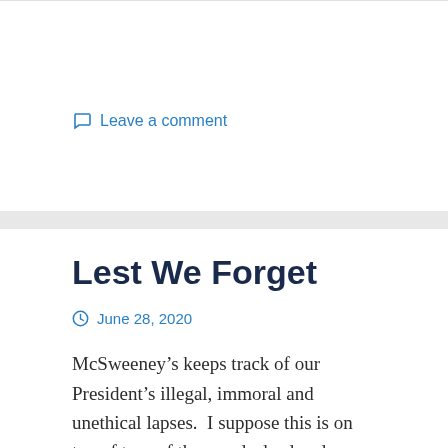Leave a comment
Lest We Forget
June 28, 2020
McSweeney's keeps track of our President's illegal, immoral and unethical lapses.  I suppose this is on top of tens of thousands dead and a wrecked economy.